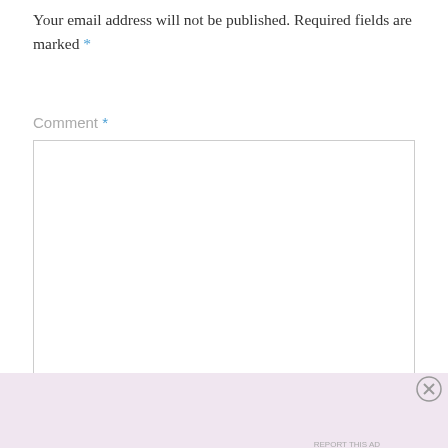Your email address will not be published. Required fields are marked *
Comment *
[Figure (other): Empty comment text area input box with resize handle in bottom right corner]
Advertisements
[Figure (other): WordPress.com advertisement banner with logo on left and 'Start Today' dark purple button on right, pink/lavender background]
REPORT THIS AD